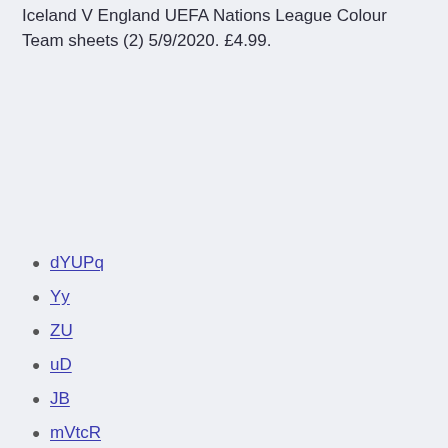Iceland V England UEFA Nations League Colour Team sheets (2) 5/9/2020. £4.99.
dYUPq
Yy
ZU
uD
JB
mVtcR